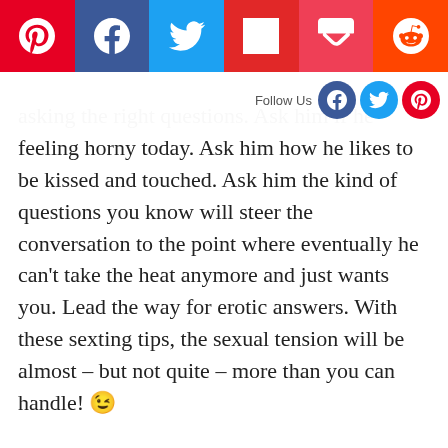Share bar: Pinterest, Facebook, Twitter, Flipboard, Pocket, Reddit
Follow Us
asking the right questions. Ask him if he feeling horny today. Ask him how he likes to be kissed and touched. Ask him the kind of questions you know will steer the conversation to the point where eventually he can't take the heat anymore and just wants you. Lead the way for erotic answers. With these sexting tips, the sexual tension will be almost – but not quite – more than you can handle! 😉
Now, ready to turn things up a notch? Try leaving him a sexy voice message.
For more from Claudia, be sure to check